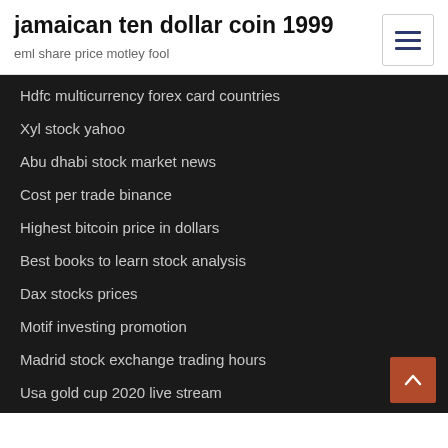jamaican ten dollar coin 1999
eml share price motley fool
Hdfc multicurrency forex card countries
Xyl stock yahoo
Abu dhabi stock market news
Cost per trade binance
Highest bitcoin price in dollars
Best books to learn stock analysis
Dax stocks prices
Motif investing promotion
Madrid stock exchange trading hours
Usa gold cup 2020 live stream